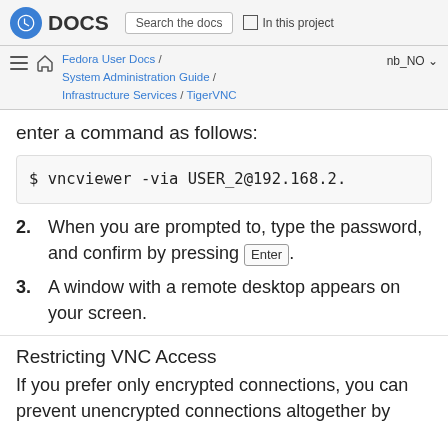DOCS | Search the docs | In this project
Fedora User Docs / System Administration Guide / Infrastructure Services / TigerVNC | nb_NO
enter a command as follows:
$ vncviewer -via USER_2@192.168.2.
2. When you are prompted to, type the password, and confirm by pressing Enter.
3. A window with a remote desktop appears on your screen.
Restricting VNC Access
If you prefer only encrypted connections, you can prevent unencrypted connections altogether by